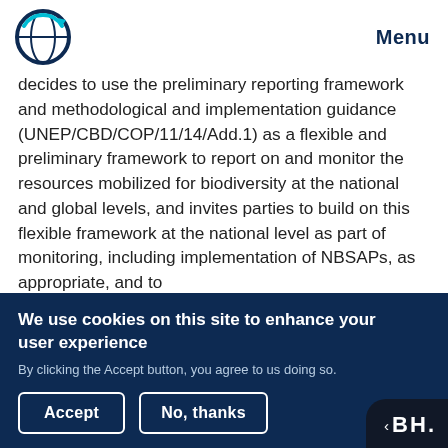[Figure (logo): CBD/UNEP circular globe logo with blue and teal design]
Menu
decides to use the preliminary reporting framework and methodological and implementation guidance (UNEP/CBD/COP/11/14/Add.1) as a flexible and preliminary framework to report on and monitor the resources mobilized for biodiversity at the national and global levels, and invites parties to build on this flexible framework at the national level as part of monitoring, including implementation of NBSAPs, as appropriate, and to
We use cookies on this site to enhance your user experience
By clicking the Accept button, you agree to us doing so.
Accept
No, thanks